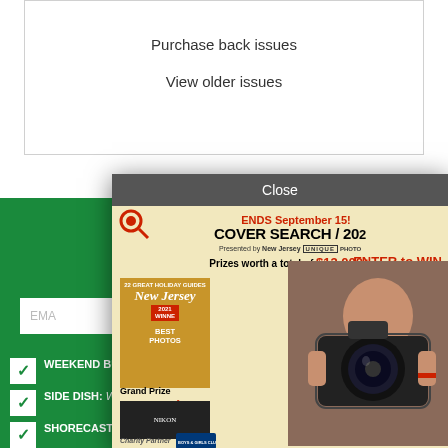Purchase back issues
View older issues
GET THE BEST OF WHERE WE LIVE
SENT TO YOUR INBOX
EMAIL
NEWSLETTER SIGN UP
WEEKEND BUZZ: Weekly, Events and Entertainment
SIDE DISH: Weekly, Dining News and Reviews
SHORECAST: Weekly, Best of the New Jersey Shore
[Figure (infographic): Modal popup advertisement for Cover Search 2021 contest. Dark gray close bar at top. Yellow/cream background. Text: ENDS September 15! COVER SEARCH/2021, Presented by New Jersey UNIQUE PHOTO. Prizes worth a total of $13,000+. ENTER to WIN. Shows New Jersey magazine cover with 2021 WINNER BEST PHOTOS badge. Grand Prize camera (Nikon). Person holding camera. Charity Partner Boys & Girls Clubs logo.]